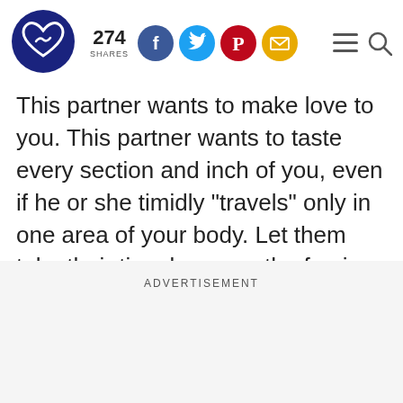[Figure (logo): Heart/love website logo — dark blue circle with stylized heart/infinity icon in white]
274 SHARES — social share icons: Facebook, Twitter, Pinterest, Email — hamburger menu and search icons
This partner wants to make love to you. This partner wants to taste every section and inch of you, even if he or she timidly "travels" only in one area of your body. Let them take their time because the fun is just about to begin.
ADVERTISEMENT